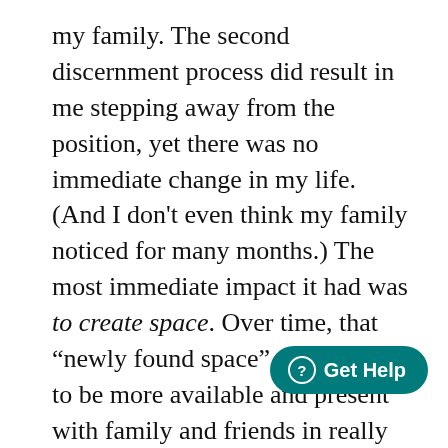my family. The second discernment process did result in me stepping away from the position, yet there was no immediate change in my life. (And I don't even think my family noticed for many months.) The most immediate impact it had was to create space. Over time, that “newly found space” allowed me to be more available and present with family and friends in really meaningful ways.
Being a follower of Jesus does not always give us clarity on the decisions that we have to make in our lives. What it does do is give us practices to use in our discernment.